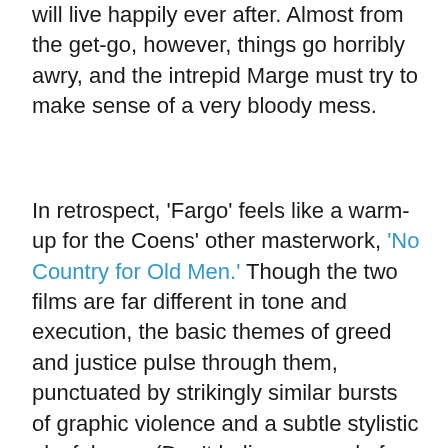will live happily ever after. Almost from the get-go, however, things go horribly awry, and the intrepid Marge must try to make sense of a very bloody mess.
In retrospect, 'Fargo' feels like a warm-up for the Coens' other masterwork, 'No Country for Old Men.' Though the two films are far different in tone and execution, the basic themes of greed and justice pulse through them, punctuated by strikingly similar bursts of graphic violence and a subtle stylistic playfulness. (Don't believe a word of the "this is based on a true story" opening; it's a total, bald-faced lie.) Yet back in 1996, Joel and Ethan were less mainstream, more renegade, and their brash youthfulness shook up the film industry. 'Fargo' may be a bit more conventional than their previous works, but the way it mixes and matches genres and